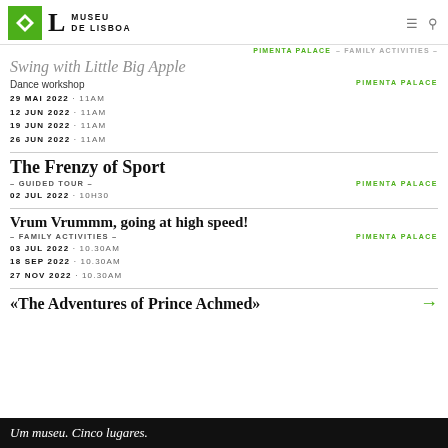MUSEU DE LISBOA
PIMENTA PALACE – FAMILY ACTIVITIES –
Swing with Little Big Apple
Dance workshop
PIMENTA PALACE
29 MAI 2022 · 11AM
12 JUN 2022 · 11AM
19 JUN 2022 · 11AM
26 JUN 2022 · 11AM
The Frenzy of Sport
– GUIDED TOUR –
PIMENTA PALACE
02 JUL 2022 · 10H30
Vrum Vrummm, going at high speed!
– FAMILY ACTIVITIES –
PIMENTA PALACE
03 JUL 2022 · 10.30AM
18 SEP 2022 · 10.30AM
27 NOV 2022 · 10.30AM
«The Adventures of Prince Achmed»
Um museu. Cinco lugares.